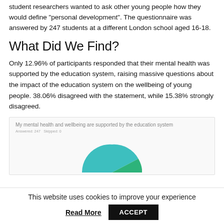student researchers wanted to ask other young people how they would define "personal development". The questionnaire was answered by 247 students at a different London school aged 16-18.
What Did We Find?
Only 12.96% of participants responded that their mental health was supported by the education system, raising massive questions about the impact of the education system on the wellbeing of young people. 38.06% disagreed with the statement, while 15.38% strongly disagreed.
My mental health and wellbeing are supported by the education system
Answered: 247   Skipped: 0
[Figure (pie-chart): Partial pie chart visible showing teal/green slices and a small orange/red slice]
This website uses cookies to improve your experience
Read More   ACCEPT